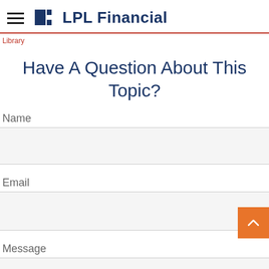LPL Financial
Library
Have A Question About This Topic?
Name
Email
Message